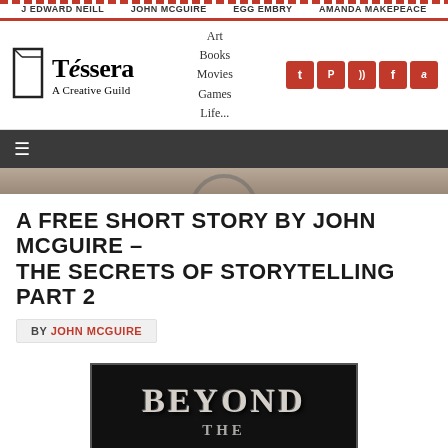J EDWARD NEILL  JOHN MCGUIRE  EGG EMBRY  AMANDA MAKEPEACE
[Figure (logo): Tessera A Creative Guild logo with book icon and navigation links: Art, Books, Movies, Games, Life... and social media icons (Twitter, Pinterest, RSS, Facebook, Amazon)]
A FREE SHORT STORY BY JOHN MCGUIRE – THE SECRETS OF STORYTELLING PART 2
BY JOHN MCGUIRE
[Figure (photo): Dark book cover image showing the text 'BEYOND THE' in large distressed white lettering on a black background]